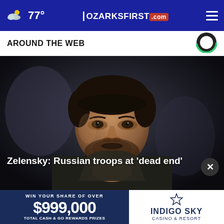77° | OZARKSFIRST.com
AROUND THE WEB
[Figure (photo): Close-up photo of a man with dark short hair and beard, wearing a dark jacket, leaning forward with hand raised to chin in a contemplative pose. Dark moody background.]
Zelensky: Russian troops at 'dead end'
[Figure (other): Advertisement banner: WIN YOUR SHARE OF OVER $999,000 Total Cash & GO Rewards Prizes — Indigo Sky Casino & Resort]